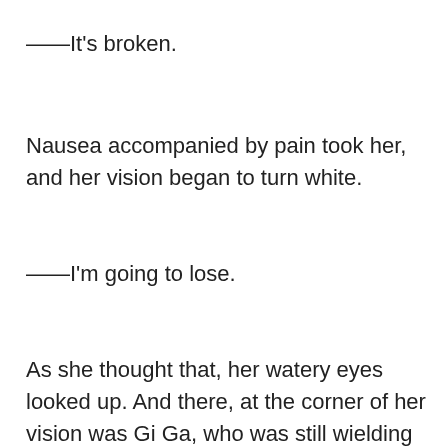——It's broken.
Nausea accompanied by pain took her, and her vision began to turn white.
——I’m going to lose.
As she thought that, her watery eyes looked up. And there, at the corner of her vision was Gi Ga, who was still wielding his spear, and Reshia who was anxiously watching over them.